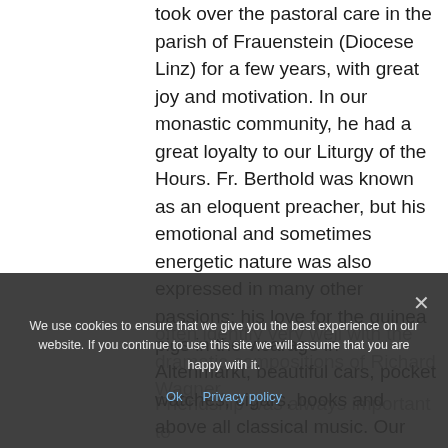took over the pastoral care in the parish of Frauenstein (Diocese Linz) for a few years, with great joy and motivation. In our monastic community, he had a great loyalty to our Liturgy of the Hours. Fr. Berthold was known as an eloquent preacher, but his emotional and sometimes energetic nature was also expressed in many other passions: his love for the guinea pigs in the vicarage in Altenmarkt, beautiful cars, pocket watches, cigars, books and above all classical music. Our late brother could often identify very well with the dramatic compositions of Richard Wagner.
Friendship was always important to
We use cookies to ensure that we give you the best experience on our website. If you continue to use this site we will assume that you are happy with it. Ok Privacy policy